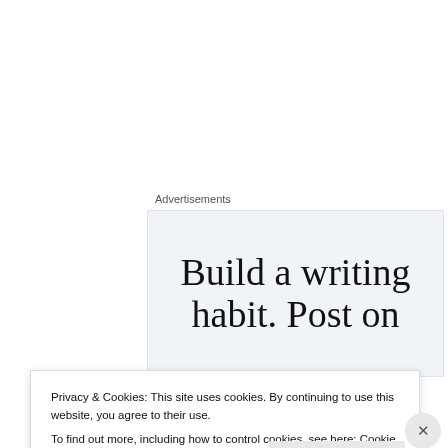Advertisements
[Figure (screenshot): Advertisement banner with text 'Build a writing habit. Post on...' on a light blue-gray background]
Splat the Cat
Written and Illustrated by Rob Scotton
[Figure (illustration): Splat the Cat book cover showing large red italic text 'Splat the Cat']
Privacy & Cookies: This site uses cookies. By continuing to use this website, you agree to their use.
To find out more, including how to control cookies, see here: Cookie Policy